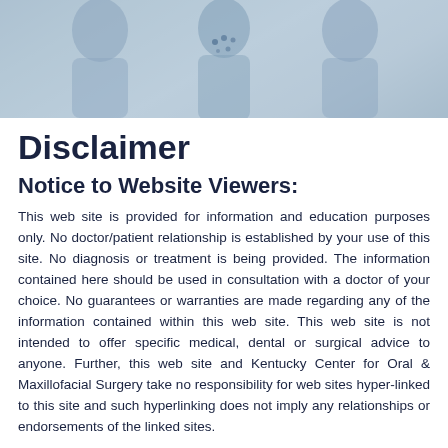[Figure (photo): Hero banner image showing medical professionals in blue-toned photograph with a loading spinner overlay]
Disclaimer
Notice to Website Viewers:
This web site is provided for information and education purposes only. No doctor/patient relationship is established by your use of this site. No diagnosis or treatment is being provided. The information contained here should be used in consultation with a doctor of your choice. No guarantees or warranties are made regarding any of the information contained within this web site. This web site is not intended to offer specific medical, dental or surgical advice to anyone. Further, this web site and Kentucky Center for Oral & Maxillofacial Surgery take no responsibility for web sites hyper-linked to this site and such hyperlinking does not imply any relationships or endorsements of the linked sites.
Privacy Policy: